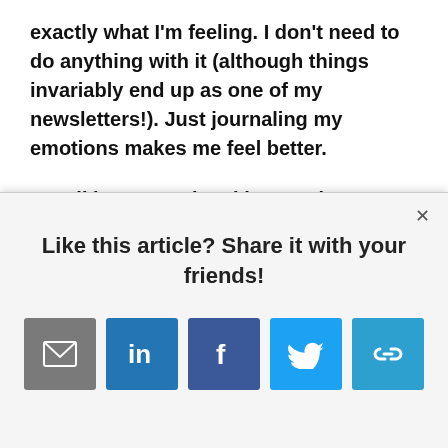exactly what I'm feeling. I don't need to do anything with it (although things invariably end up as one of my newsletters!). Just journaling my emotions makes me feel better.

We all have emotional issues that threaten to
[Figure (screenshot): Modal dialog with 'Like this article? Share it with your friends!' heading and social sharing icons for email, LinkedIn, Facebook, Twitter, and a link button. Has an X close button in top right corner.]